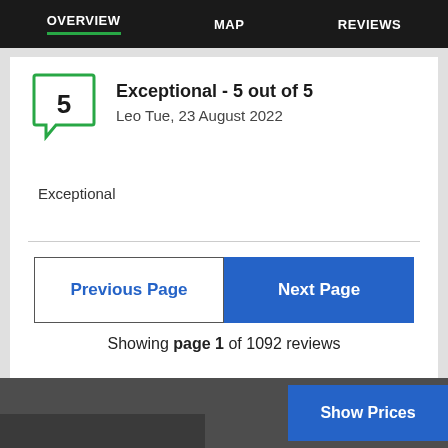OVERVIEW  MAP  REVIEWS
Exceptional - 5 out of 5
Leo Tue, 23 August 2022
Exceptional
Previous Page  Next Page
Showing page 1 of 1092 reviews
Show Prices